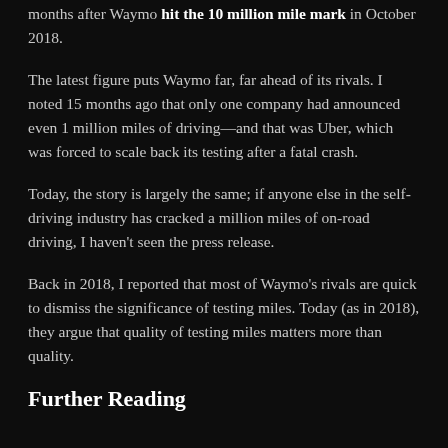months after Waymo hit the 10 million mile mark in October 2018.
The latest figure puts Waymo far, far ahead of its rivals. I noted 15 months ago that only one company had announced even 1 million miles of driving—and that was Uber, which was forced to scale back its testing after a fatal crash.
Today, the story is largely the same; if anyone else in the self-driving industry has cracked a million miles of on-road driving, I haven't seen the press release.
Back in 2018, I reported that most of Waymo's rivals are quick to dismiss the significance of testing miles. Today (as in 2018), they argue that quality of testing miles matters more than quality.
Further Reading